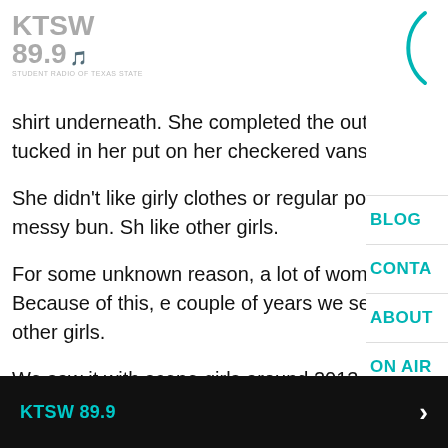KTSW 89.9
shirt underneath. She completed the outfit with her vin jeans that she found at a thrift store. She tucked in her put on her checkered vans.
She didn't like girly clothes or regular pop music. She d make-up and she only liked her hair in a messy bun. Sh like other girls.
For some unknown reason, a lot of women think that t standard for how most women are. Because of this, e couple of years we see this huge mass of women who different or not like other girls.
We saw it with scene girls around 2013, now we're seeing it with alternative girls who think it's quirky to only buy thrift clothes and spontaneously dye their hair.
KTSW 89.9